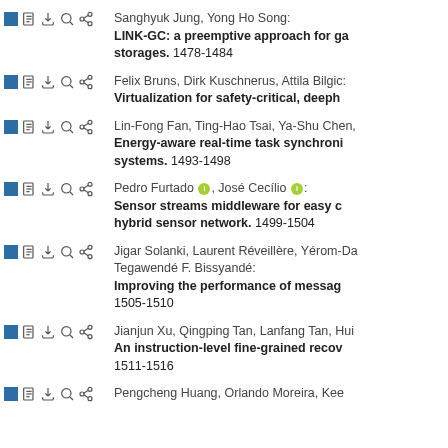Sanghyuk Jung, Yong Ho Song: LINK-GC: a preemptive approach for garbage collection in flash-based storages. 1478-1484
Felix Bruns, Dirk Kuschnerus, Attila Bilgic: Virtualization for safety-critical, deeply embedded systems.
Lin-Fong Fan, Ting-Hao Tsai, Ya-Shu Chen: Energy-aware real-time task synchronization for multiprocessor systems. 1493-1498
Pedro Furtado, José Cecílio: Sensor streams middleware for easy composition of hybrid sensor network. 1499-1504
Jigar Solanki, Laurent Réveillère, Yérom-Da..., Tegawendé F. Bissyandé: Improving the performance of message passing... 1505-1510
Jianjun Xu, Qingping Tan, Lanfang Tan, Hui...: An instruction-level fine-grained recov... 1511-1516
Pengcheng Huang, Orlando Moreira, Kee...